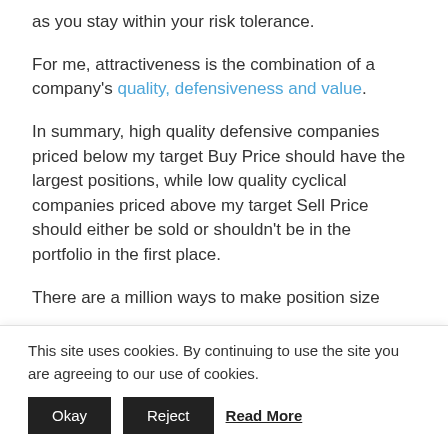as you stay within your risk tolerance.
For me, attractiveness is the combination of a company's quality, defensiveness and value.
In summary, high quality defensive companies priced below my target Buy Price should have the largest positions, while low quality cyclical companies priced above my target Sell Price should either be sold or shouldn't be in the portfolio in the first place.
There are a million ways to make position size
This site uses cookies. By continuing to use the site you are agreeing to our use of cookies.